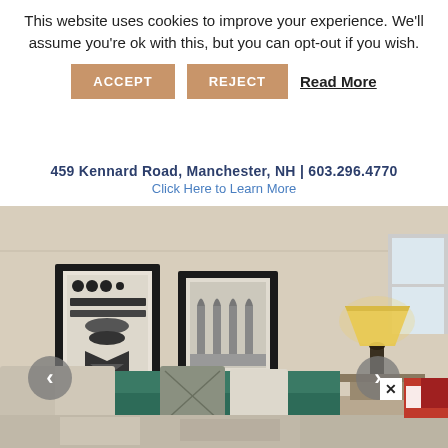This website uses cookies to improve your experience. We'll assume you're ok with this, but you can opt-out if you wish.
ACCEPT  REJECT  Read More
459 Kennard Road, Manchester, NH | 603.296.4770
Click Here to Learn More
[Figure (photo): Interior room photo showing a living room with beige walls, two black-framed artworks on the wall, a teal/green sofa with decorative pillows, and a yellow table lamp on a side table. Navigation arrows are visible on left and right sides.]